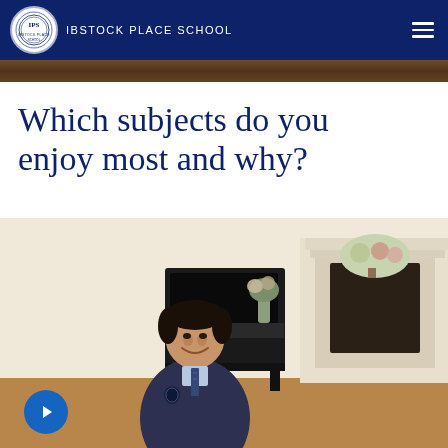IBSTOCK PLACE SCHOOL
Which subjects do you enjoy most and why?
[Figure (photo): School website screenshot header with Ibstock Place School logo and navigation bar in dark navy blue]
[Figure (photo): A young male student in school uniform (dark blazer, light blue shirt, striped tie) sitting in a formal room with a grand piano, fireplace with flower arrangement, and wooden flooring. A blue play button is visible in the bottom left corner indicating a video.]